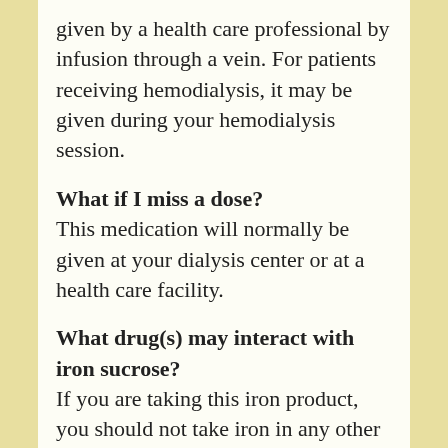given by a health care professional by infusion through a vein. For patients receiving hemodialysis, it may be given during your hemodialysis session.
What if I miss a dose?
This medication will normally be given at your dialysis center or at a health care facility.
What drug(s) may interact with iron sucrose?
If you are taking this iron product, you should not take iron in any other medicine or dietary supplement.